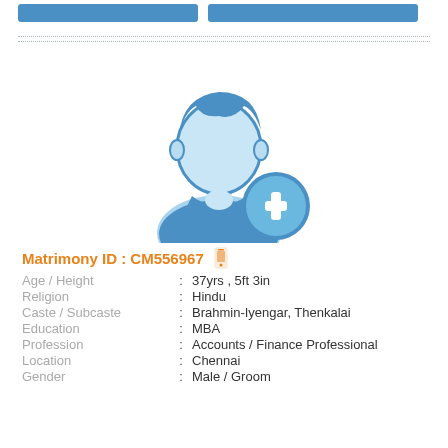[Figure (illustration): Two blue rectangular buttons at the top of a profile card]
[Figure (illustration): A placeholder silhouette avatar icon of a male person with a blue plus icon in the lower right corner, indicating the user has no profile photo uploaded]
Matrimony ID : CM556967
| Age / Height | : | 37yrs , 5ft 3in |
| Religion | : | Hindu |
| Caste / Subcaste | : | Brahmin-Iyengar, Thenkalai |
| Education | : | MBA |
| Profession | : | Accounts / Finance Professional |
| Location | : | Chennai |
| Gender | : | Male / Groom |